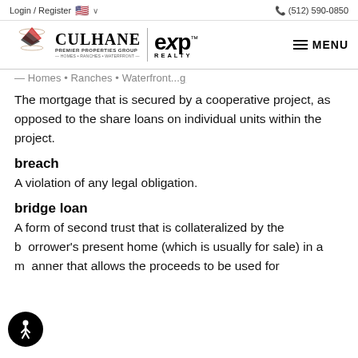Login / Register  🇺🇸 ∨   📞 (512) 590-0850
[Figure (logo): Culhane Premier Properties Group and eXp Realty logos side by side, with MENU navigation on the right]
...Homes • Ranches • Waterfront...g
The mortgage that is secured by a cooperative project, as opposed to the share loans on individual units within the project.
breach
A violation of any legal obligation.
bridge loan
A form of second trust that is collateralized by the borrower's present home (which is usually for sale) in a manner that allows the proceeds to be used for